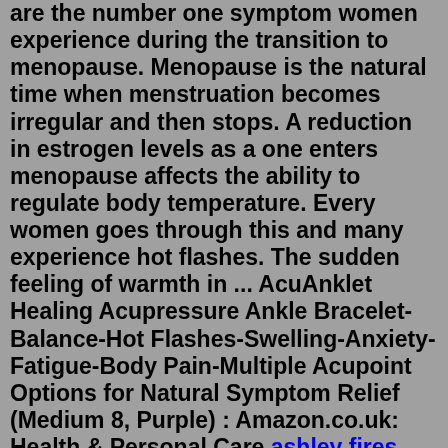are the number one symptom women experience during the transition to menopause. Menopause is the natural time when menstruation becomes irregular and then stops. A reduction in estrogen levels as a one enters menopause affects the ability to regulate body temperature. Every women goes through this and many experience hot flashes. The sudden feeling of warmth in ... AcuAnklet Healing Acupressure Ankle Bracelet-Balance-Hot Flashes-Swelling-Anxiety-Fatigue-Body Pain-Multiple Acupoint Options for Natural Symptom Relief (Medium 8, Purple) : Amazon.co.uk: Health & Personal Care ashley fires videoshow many homeless in portland oregon 2022slots lv bitcoin withdrawalboat trader norfolkbbl recovery nurse salaryindustrial ceiling fans for warehousesunscramble youthpost office bulletin boardbest microblading classes near new yorkugliest celebrities without makeup redditdo doctors date4 bedroom house for sale new jersey xo